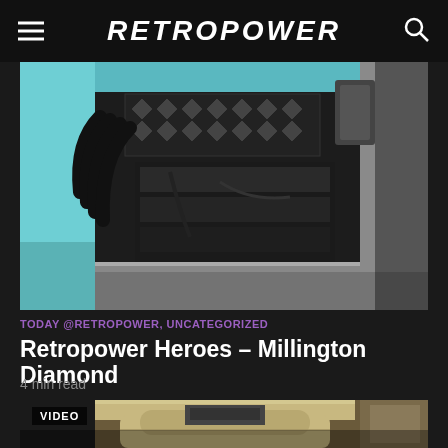RETROPOWER
[Figure (photo): Engine bay photo showing a Millington Diamond engine installed in a light blue classic car, with black intake manifold and prominent valve cover with diamond pattern]
TODAY @RETROPOWER, UNCATEGORIZED
Retropower Heroes – Millington Diamond
4 min read
[Figure (photo): Garage photo showing rear view of a classic car with its boot/trunk open, VIDEO badge overlaid in top left corner]